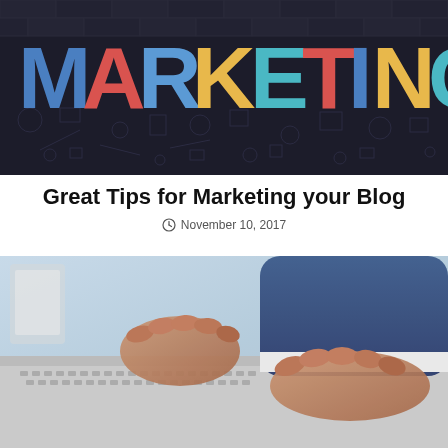[Figure (photo): Colorful MARKETING text painted on a dark brick wall with marketing-related doodles/icons drawn in chalk]
Great Tips for Marketing your Blog
November 10, 2017
[Figure (photo): Close-up of a businessman's hands typing on a laptop keyboard, wearing a blue suit jacket]